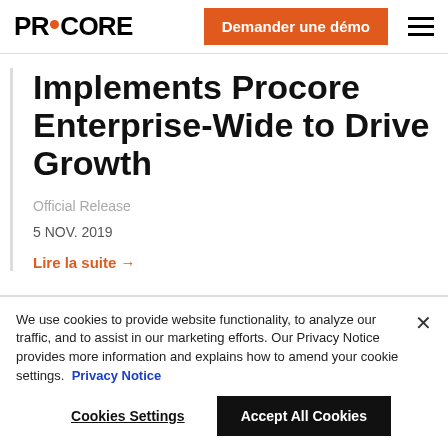PROCORE | Demander une démo
Implements Procore Enterprise-Wide to Drive Growth
Official Release
5 NOV. 2019
Lire la suite →
We use cookies to provide website functionality, to analyze our traffic, and to assist in our marketing efforts. Our Privacy Notice provides more information and explains how to amend your cookie settings.  Privacy Notice
Cookies Settings | Accept All Cookies